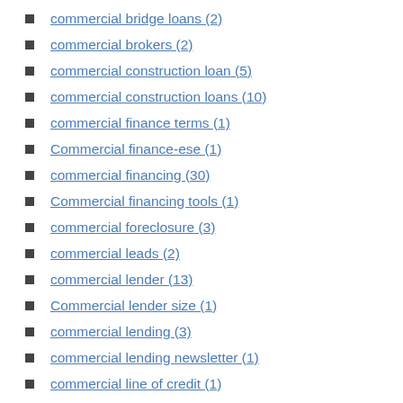commercial bridge loans (2)
commercial brokers (2)
commercial construction loan (5)
commercial construction loans (10)
commercial finance terms (1)
Commercial finance-ese (1)
commercial financing (30)
Commercial financing tools (1)
commercial foreclosure (3)
commercial leads (2)
commercial lender (13)
Commercial lender size (1)
commercial lending (3)
commercial lending newsletter (1)
commercial line of credit (1)
commercial loan (36)